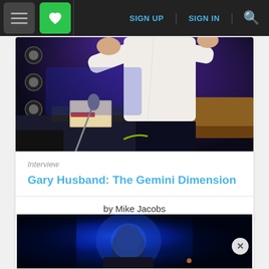Navigation bar with hamburger menu, favorites heart icon, SIGN UP, SIGN IN links, and search icon
[Figure (photo): Concert performance photo showing a musician in a white shirt gesturing with hands over keyboard/equipment, microphone stand visible, blue stage lighting in background]
Interview
Gary Husband: The Gemini Dimension
by Mike Jacobs
[Figure (photo): Second concert photo showing a musician lit by blue spotlight on a dark stage, partially visible, with close button overlay]